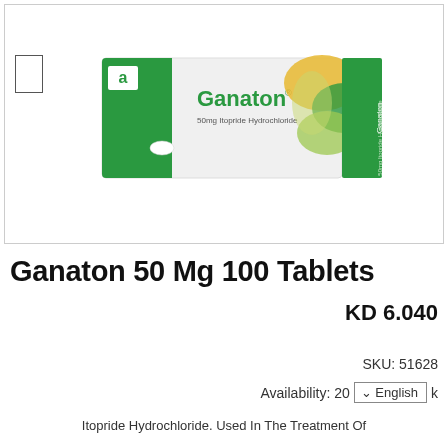[Figure (photo): Ganaton 50mg Itopride Hydrochloride tablet box — white and green packaging with Abbott logo and decorative swirl design in green and yellow/gold.]
Ganaton 50 Mg 100 Tablets
KD 6.040
SKU: 51628
Availability: 20 in stock
Itopride Hydrochloride. Used In The Treatment Of ...